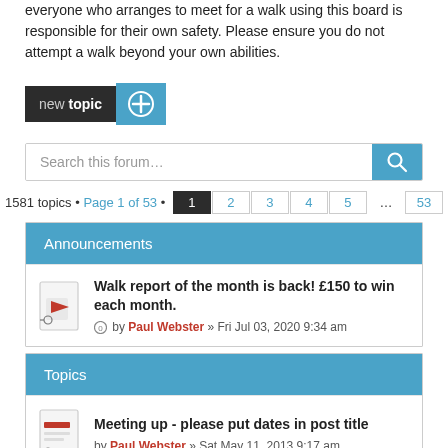everyone who arranges to meet for a walk using this board is responsible for their own safety. Please ensure you do not attempt a walk beyond your own abilities.
[Figure (screenshot): New topic button with dark background label 'new topic' and blue circle plus icon]
[Figure (screenshot): Search this forum search bar with blue search button]
1581 topics • Page 1 of 53 • 1 2 3 4 5 ... 53
Announcements
Walk report of the month is back! £150 to win each month.
by Paul Webster » Fri Jul 03, 2020 9:34 am
Topics
Meeting up - please put dates in post title
by Paul Webster » Sat May 11, 2013 9:17 am